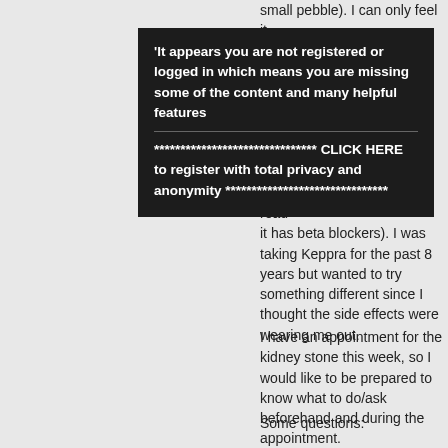small pebble). I can only feel it when ... is lost some length. ... Condition being vegetarian since April of last year. I started taking lamictal for seizures (I've read it has beta blockers). I was taking Keppra for the past 8 years but wanted to try something different since I thought the side effects were wearing me out.
[Figure (screenshot): Dark popup overlay with white bold text: ''It appears you are not registered or logged in which means you are missing some of the content and many helpful features' followed by a divider line and '******************************* CLICK HERE to register with total privacy and anonymity *******************************']
I have an appointment for the kidney stone this week, so I would like to be prepared to know what to do/ask beforehand and during the appointment.
Some questions: